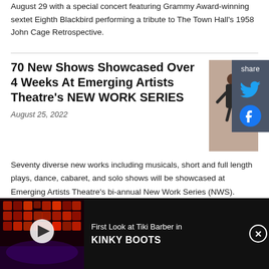August 29 with a special concert featuring Grammy Award-winning sextet Eighth Blackbird performing a tribute to The Town Hall's 1958 John Cage Retrospective.
70 New Shows Showcased Over 4 Weeks At Emerging Artists Theatre's NEW WORK SERIES
August 25, 2022
Seventy diverse new works including musicals, short and full length plays, dance, cabaret, and solo shows will be showcased at Emerging Artists Theatre's bi-annual New Work Series (NWS).
[Figure (photo): Two performers in a theatrical pose, one lifting the other, against a neutral background.]
[Figure (screenshot): Advertisement bar at bottom: video thumbnail showing a theatrical stage with red lighting, play button overlay, text 'First Look at Tiki Barber in KINKY BOOTS', and a close button.]